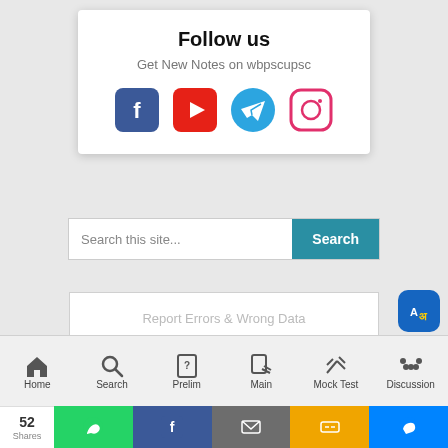Follow us
Get New Notes on wbpscupsc
[Figure (screenshot): Social media icons: Facebook, YouTube, Telegram, Instagram]
Search this site...
Search
Report Errors & Wrong Data
Suggest Us
[Figure (screenshot): Translate and scroll-to-top floating action buttons]
Home
Search
Prelim
Main
Mock Test
Discussion
52 Shares